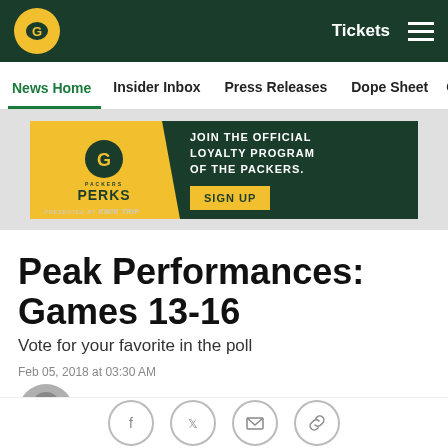Green Bay Packers – Tickets | Menu
News Home | Insider Inbox | Press Releases | Dope Sheet | Game
[Figure (infographic): Packers Perks loyalty program advertisement banner. Text: JOIN THE OFFICIAL LOYALTY PROGRAM OF THE PACKERS. SIGN UP. Presented by KWIK TRIP.]
Peak Performances: Games 13-16
Vote for your favorite in the poll
Feb 05, 2018 at 03:30 AM
Mike Spofford
packers.com senior writer